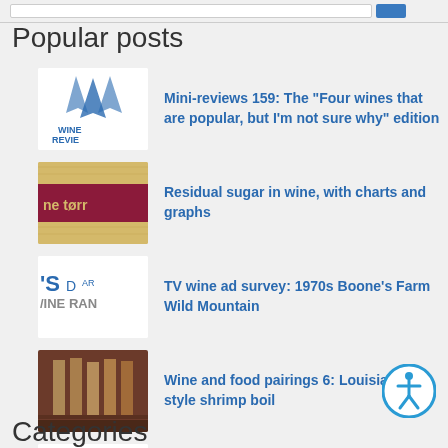Popular posts
Mini-reviews 159: The "Four wines that are popular, but I'm not sure why" edition
Residual sugar in wine, with charts and graphs
TV wine ad survey: 1970s Boone's Farm Wild Mountain
Wine and food pairings 6: Louisiana-style shrimp boil
Barefoot wine: Why it's so popular
Categories